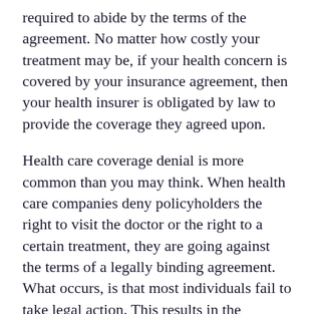required to abide by the terms of the agreement. No matter how costly your treatment may be, if your health concern is covered by your insurance agreement, then your health insurer is obligated by law to provide the coverage they agreed upon.
Health care coverage denial is more common than you may think. When health care companies deny policyholders the right to visit the doctor or the right to a certain treatment, they are going against the terms of a legally binding agreement. What occurs, is that most individuals fail to take legal action. This results in the policyholder digging into his or her pockets to pay for a medical procedure. When an insurance provider fails to provide the necessary coverage, the only option left for the policyholder is to pay for the cost of the medical treatment themselves.